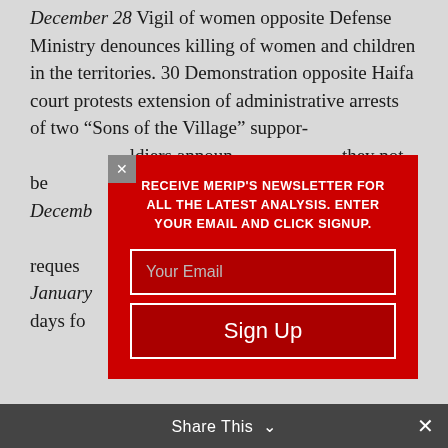December 28 Vigil of women opposite Defense Ministry denounces killing of women and children in the territories. 30 Demonstration opposite Haifa court protests extension of administrative arrests of two "Sons of the Village" supporters. Soldiers announced they not be Sit-down s December awaiting induction request es. January d to 21 days fo
RECEIVE MERIP'S NEWSLETTER FOR ALL THE LATEST ANALYSIS. ENTER YOUR EMAIL AND CLICK SIGNUP.
Share This